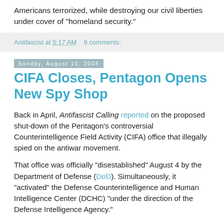Americans terrorized, while destroying our civil liberties under cover of "homeland security."
Antifascist at 5:17 AM   9 comments:
Sunday, August 10, 2008
CIFA Closes, Pentagon Opens New Spy Shop
Back in April, Antifascist Calling reported on the proposed shut-down of the Pentagon's controversial Counterintelligence Field Activity (CIFA) office that illegally spied on the antiwar movement.
That office was officially "disestablished" August 4 by the Department of Defense (DoD). Simultaneously, it "activated" the Defense Counterintelligence and Human Intelligence Center (DCHC) "under the direction of the Defense Intelligence Agency."